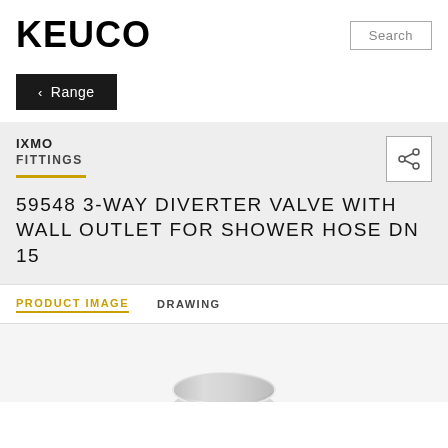KEUCO
Search
< Range
IXMO
FITTINGS
59548 3-WAY DIVERTER VALVE WITH WALL OUTLET FOR SHOWER HOSE DN 15
PRODUCT IMAGE   DRAWING
[Figure (photo): Partial product image of a chrome shower valve/fitting visible at the bottom of the page]